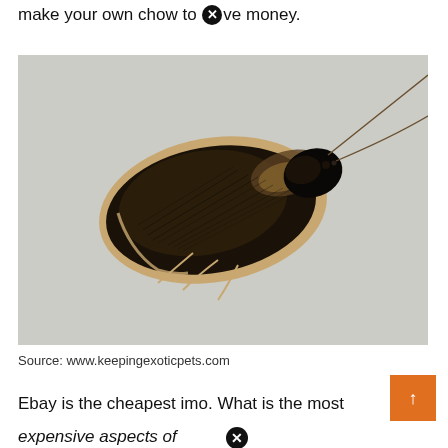make your own chow to save money.
[Figure (photo): Close-up macro photograph of a cockroach (likely a wood cockroach or similar species) viewed from above, showing dark brown to black wings/elytra with tan/beige edges and antennae, against a light grey background.]
Source: www.keepingexoticpets.com
Ebay is the cheapest imo. What is the most expensive aspects of